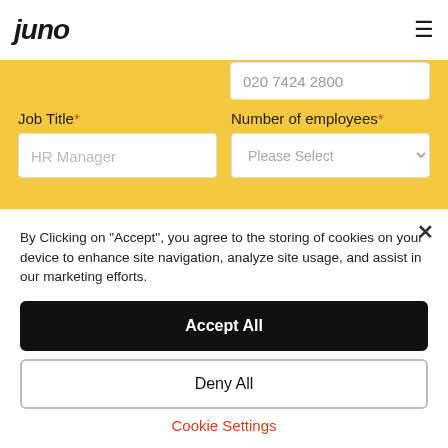juno
020 7424 2800
Job Title*
Number of employees*
HR Manager
Please Select
What company benefits do you currently have in place?*
How did you learn about Juno?*
Online review site
By Clicking on "Accept", you agree to the storing of cookies on your device to enhance site navigation, analyze site usage, and assist in our marketing efforts.
Accept All
Deny All
Cookie Settings